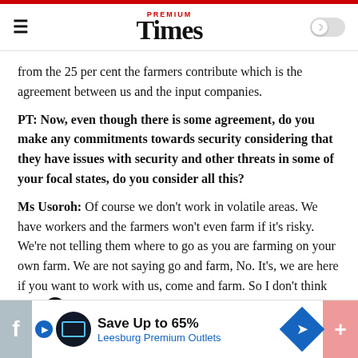PREMIUM Times
from the 25 per cent the farmers contribute which is the agreement between us and the input companies.
PT: Now, even though there is some agreement, do you make any commitments towards security considering that they have issues with security and other threats in some of your focal states, do you consider all this?
Ms Usoroh: Of course we don’t work in volatile areas. We have workers and the farmers won’t even farm if it’s risky. We’re not telling them where to go as you are farming on your own farm. We are not saying go and farm, No. It’s, we are here if you want to work with us, come and farm. So I don’t think there any
[Figure (screenshot): Advertisement banner: Save Up to 65% Leesburg Premium Outlets]